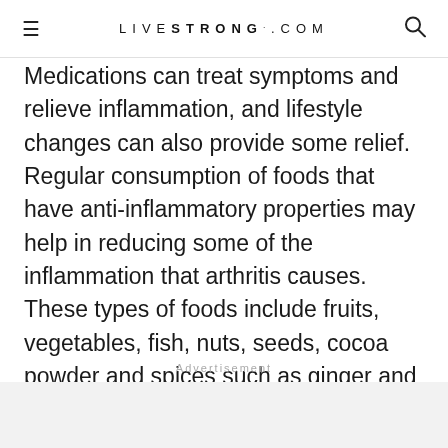LIVESTRONG.COM
Medications can treat symptoms and relieve inflammation, and lifestyle changes can also provide some relief. Regular consumption of foods that have anti-inflammatory properties may help in reducing some of the inflammation that arthritis causes. These types of foods include fruits, vegetables, fish, nuts, seeds, cocoa powder and spices such as ginger and turmeric.
Advertisement